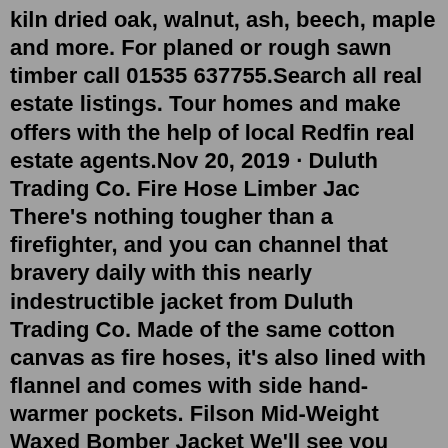kiln dried oak, walnut, ash, beech, maple and more. For planed or rough sawn timber call 01535 637755.Search all real estate listings. Tour homes and make offers with the help of local Redfin real estate agents.Nov 20, 2019 · Duluth Trading Co. Fire Hose Limber Jac There's nothing tougher than a firefighter, and you can channel that bravery daily with this nearly indestructible jacket from Duluth Trading Co. Made of the same cotton canvas as fire hoses, it's also lined with flannel and comes with side hand-warmer pockets. Filson Mid-Weight Waxed Bomber Jacket We'll see you next year, July 14-15-16, 2023. Until then follow along on social media for important updates! 41K views, 310 likes, 13 loves, 38 comments, 117 shares, Facebook Watch Videos from Duluth Trading Company: Bulky jackets are a burden. Our lighter-weight 8-oz. Fire Hose Flannel-Lined Shirt Jac is... Nov 20, 2019 · Duluth Trading Co. Fire Hose Limber Jac There's nothing tougher than a firefighter, and you can channel that bravery